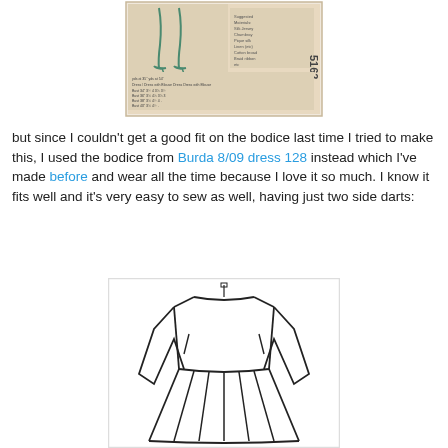[Figure (photo): Old sewing pattern envelope back showing fabric requirements table, pattern number 5162, with illustration of legs in heels]
but since I couldn't get a good fit on the bodice last time I tried to make this, I used the bodice from Burda 8/09 dress 128 instead which I've made before and wear all the time because I love it so much. I know it fits well and it's very easy to sew as well, having just two side darts:
[Figure (illustration): Technical flat sketch / line drawing of a dress bodice with long sleeves and a flared skirt, showing front view with side darts]